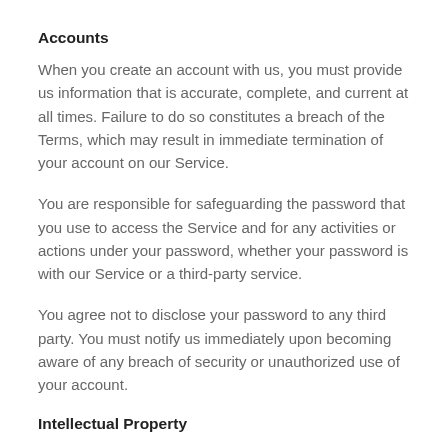Accounts
When you create an account with us, you must provide us information that is accurate, complete, and current at all times. Failure to do so constitutes a breach of the Terms, which may result in immediate termination of your account on our Service.
You are responsible for safeguarding the password that you use to access the Service and for any activities or actions under your password, whether your password is with our Service or a third-party service.
You agree not to disclose your password to any third party. You must notify us immediately upon becoming aware of any breach of security or unauthorized use of your account.
Intellectual Property
The Service and its original content, features and